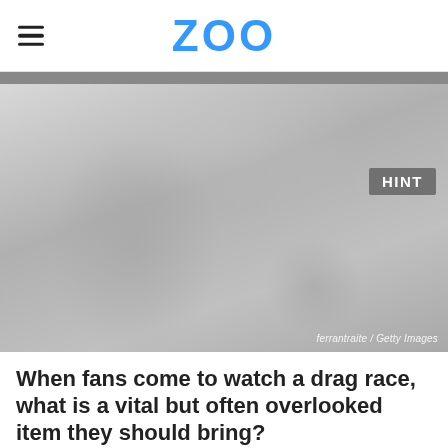ZOO
[Figure (photo): Grayscale photo of a young child wearing ear protection headphones, looking upward, with a crowd in the background at what appears to be an outdoor event. A 'HINT' badge appears in the upper right of the image. Photo credit: ferrantraite / Getty Images]
When fans come to watch a drag race, what is a vital but often overlooked item they should bring?